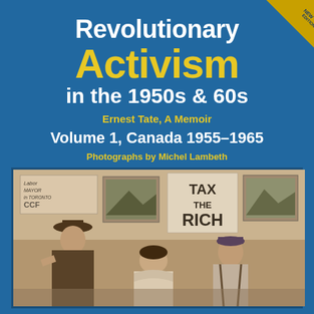Revolutionary Activism in the 1950s & 60s
Ernest Tate, A Memoir
Volume 1, Canada 1955–1965
Photographs by Michel Lambeth
[Figure (photo): Black and white photograph showing three people at what appears to be a political meeting or rally. Signs in the background read 'TAX THE RICH' and 'Labor Mayor in Toronto CCF'. The people appear to be in conversation or looking at something.]